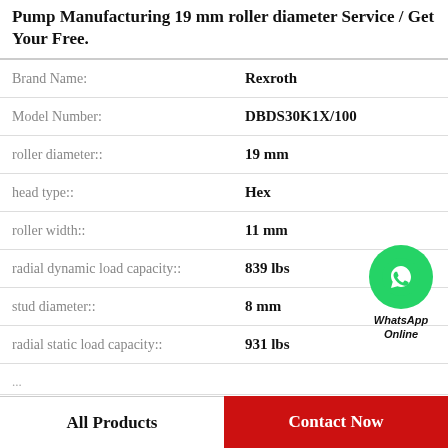Pump Manufacturing 19 mm roller diameter Service / Get Your Free.
| Property | Value |
| --- | --- |
| Brand Name: | Rexroth |
| Model Number: | DBDS30K1X/100 |
| roller diameter:: | 19 mm |
| head type:: | Hex |
| roller width:: | 11 mm |
| radial dynamic load capacity:: | 839 lbs |
| stud diameter:: | 8 mm |
| radial static load capacity:: | 931 lbs |
| ... | ... |
[Figure (logo): WhatsApp Online green circle badge with phone icon and text 'WhatsApp Online']
All Products
Contact Now